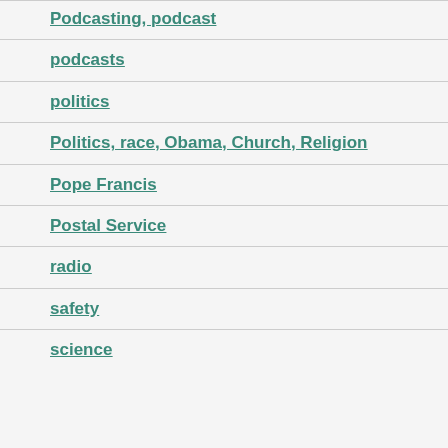Podcasting, podcast
podcasts
politics
Politics, race, Obama, Church, Religion
Pope Francis
Postal Service
radio
safety
science